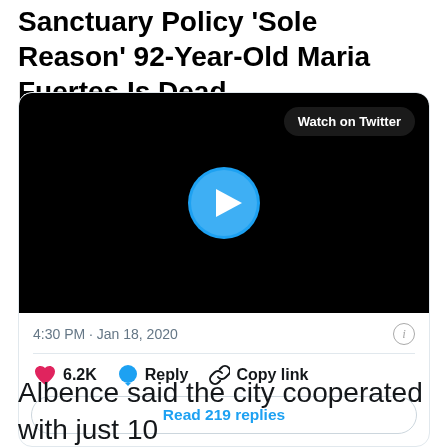Sanctuary Policy 'Sole Reason' 92-Year-Old Maria Fuertes Is Dead
[Figure (screenshot): Embedded Twitter/X video player showing a black video thumbnail with a play button and 'Watch on Twitter' button, dated 4:30 PM · Jan 18, 2020, with 6.2K likes, Reply, Copy link actions, and Read 219 replies button.]
Albence said the city cooperated with just 10